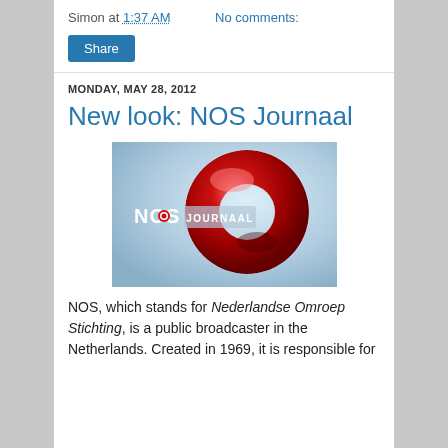Simon at 1:37 AM   No comments:
Share
MONDAY, MAY 28, 2012
New look: NOS Journaal
[Figure (photo): NOS Journaal logo — a large red toroidal ring shape on a blue-white gradient background with the text 'NOS JOURNAAL' in white.]
NOS, which stands for Nederlandse Omroep Stichting, is a public broadcaster in the Netherlands. Created in 1969, it is responsible for